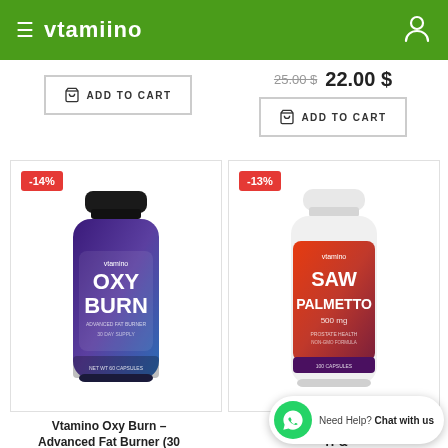vtamino
[Figure (photo): Vtamino Oxy Burn supplement bottle - purple/black bottle with OXY BURN label, -14% discount badge]
[Figure (photo): Vtamino Saw Palmetto supplement bottle - white/red bottle with SAW PALMETTO 500mg label, -13% discount badge]
ADD TO CART (top left product)
25.00 $ 22.00 $ ADD TO CART (top right product)
Vtamino Oxy Burn – Advanced Fat Burner (30 days Supply)
Vtamino Saw Palmetto – Help & Improve Prostate Health (100 Days Supply)
Need Help? Chat with us